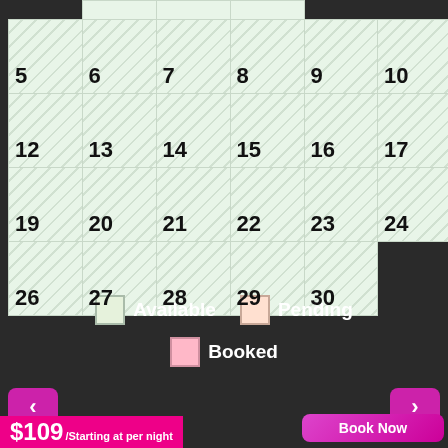[Figure (other): Booking calendar showing dates 5-30, with available (light green hatched), pending (light pink hatched), and booked (pink) status indicators. Navigation arrows and legend visible.]
Available
Pending
Booked
$109/Starting at per night
Book Now